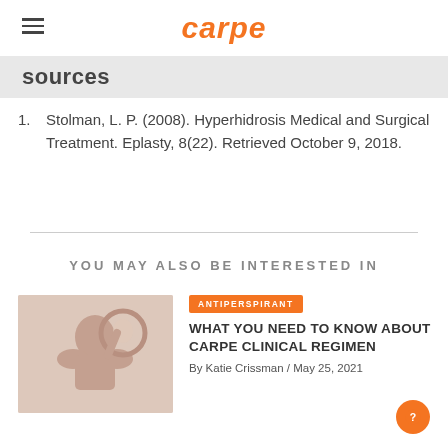carpe
sources
Stolman, L. P. (2008). Hyperhidrosis Medical and Surgical Treatment. Eplasty, 8(22). Retrieved October 9, 2018.
YOU MAY ALSO BE INTERESTED IN
[Figure (photo): Person viewed from behind, looking in a round mirror]
ANTIPERSPIRANT
WHAT YOU NEED TO KNOW ABOUT CARPE CLINICAL REGIMEN
By Katie Crissman / May 25, 2021